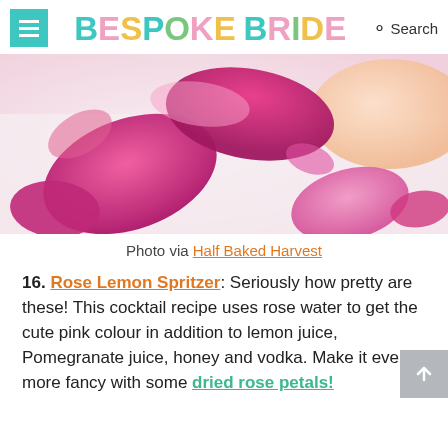BESPOKE BRIDE  Search
[Figure (photo): Close-up photo of pink and magenta rose petals scattered on a white surface, with a soft peach/orange fabric in the upper right corner]
Photo via Half Baked Harvest
16. Rose Lemon Spritzer: Seriously how pretty are these! This cocktail recipe uses rose water to get the cute pink colour in addition to lemon juice, Pomegranate juice, honey and vodka. Make it even more fancy with some dried rose petals!